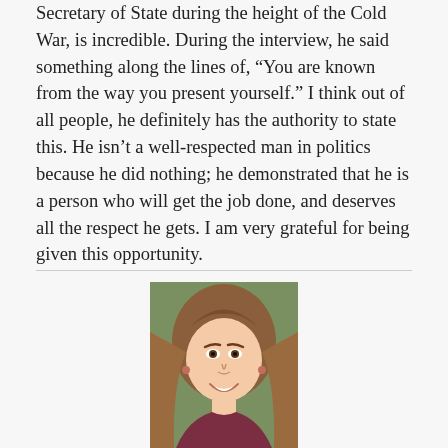Secretary of State during the height of the Cold War, is incredible. During the interview, he said something along the lines of, "You are known from the way you present yourself." I think out of all people, he definitely has the authority to state this. He isn't a well-respected man in politics because he did nothing; he demonstrated that he is a person who will get the job done, and deserves all the respect he gets. I am very grateful for being given this opportunity.
[Figure (photo): Portrait photo of Sienna Clifton, a young woman with long reddish-brown hair, smiling, wearing a dark red top]
SIENNA CLIFTON
[Figure (photo): Partial photo of another person, cropped at bottom of page]